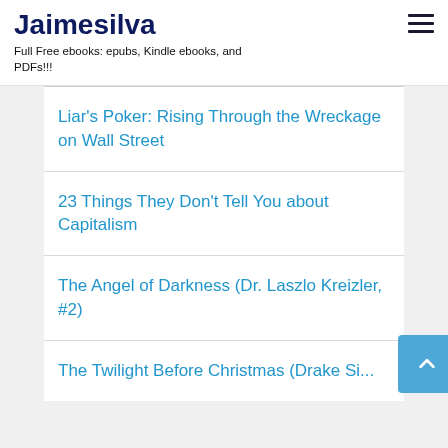Jaimesilva
Full Free ebooks: epubs, Kindle ebooks, and PDFs!!!
Liar's Poker: Rising Through the Wreckage on Wall Street
23 Things They Don't Tell You about Capitalism
The Angel of Darkness (Dr. Laszlo Kreizler, #2)
The Twilight Before Christmas (Drake Sisters, #2)